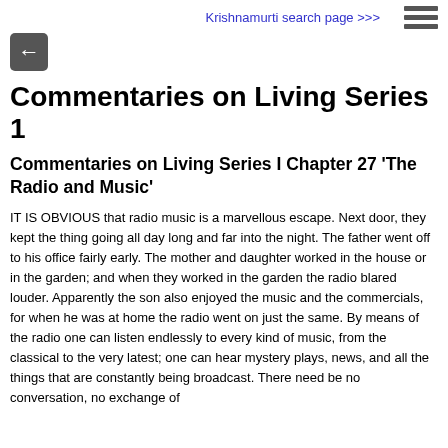Krishnamurti search page >>>
Commentaries on Living Series 1
Commentaries on Living Series I Chapter 27 'The Radio and Music'
IT IS OBVIOUS that radio music is a marvellous escape. Next door, they kept the thing going all day long and far into the night. The father went off to his office fairly early. The mother and daughter worked in the house or in the garden; and when they worked in the garden the radio blared louder. Apparently the son also enjoyed the music and the commercials, for when he was at home the radio went on just the same. By means of the radio one can listen endlessly to every kind of music, from the classical to the very latest; one can hear mystery plays, news, and all the things that are constantly being broadcast. There need be no conversation, no exchange of